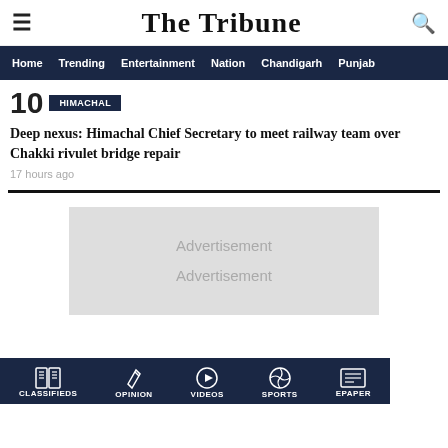The Tribune
Home  Trending  Entertainment  Nation  Chandigarh  Punjab
10  [HIMACHAL]
Deep nexus: Himachal Chief Secretary to meet railway team over Chakki rivulet bridge repair
17 hours ago
[Figure (other): Advertisement placeholder box with text 'Advertisement Advertisement']
CLASSIFIEDS  OPINION  VIDEOS  SPORTS  EPAPER